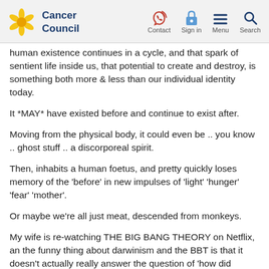Cancer Council – Contact, Sign in, Menu, Search
human existence continues in a cycle, and that spark of sentient life inside us, that potential to create and destroy, is something both more & less than our individual identity today.
It *MAY* have existed before and continue to exist after.
Moving from the physical body, it could even be .. you know .. ghost stuff .. a discorporeal spirit.
Then, inhabits a human foetus, and pretty quickly loses memory of the 'before' in new impulses of 'light' 'hunger' 'fear' 'mother'.
Or maybe we're all just meat, descended from monkeys.
My wife is re-watching THE BIG BANG THEORY on Netflix, an the funny thing about darwinism and the BBT is that it doesn't actually really answer the question of 'how did